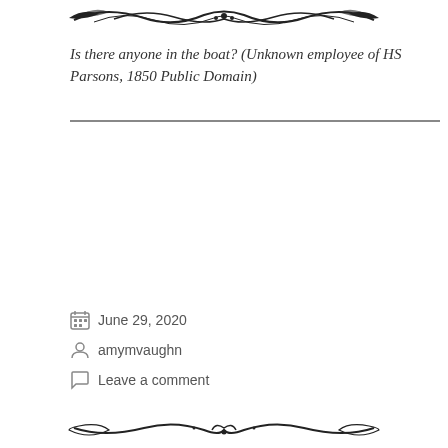[Figure (illustration): Decorative ornamental flourish divider at top of page]
Is there anyone in the boat? (Unknown employee of HS Parsons, 1850 Public Domain)
June 29, 2020
amymvaughn
Leave a comment
[Figure (illustration): Decorative ornamental flourish divider at bottom of page]